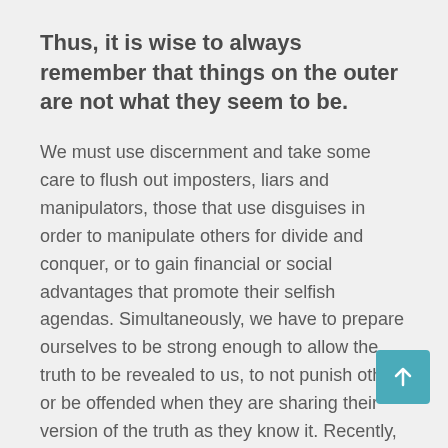Thus, it is wise to always remember that things on the outer are not what they seem to be.
We must use discernment and take some care to flush out imposters, liars and manipulators, those that use disguises in order to manipulate others for divide and conquer, or to gain financial or social advantages that promote their selfish agendas. Simultaneously, we have to prepare ourselves to be strong enough to allow the truth to be revealed to us, to not punish others or be offended when they are sharing their version of the truth as they know it. Recently, there has been a push to manipulate and discredit the meaning of terms that are connected to the Ascension Glossary lexicon as these terms are appearing in more of the